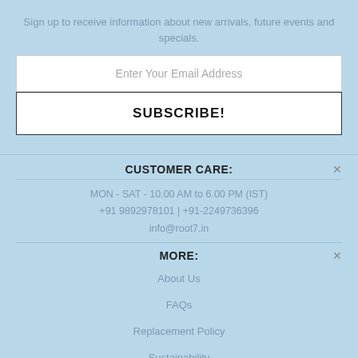Sign up to receive information about new arrivals, future events and specials.
Enter Your Email Address
SUBSCRIBE!
CUSTOMER CARE:
MON - SAT - 10.00 AM to 6.00 PM (IST)
+91 9892978101 | +91-2249736396
info@root7.in
MORE:
About Us
FAQs
Replacement Policy
Sustainability